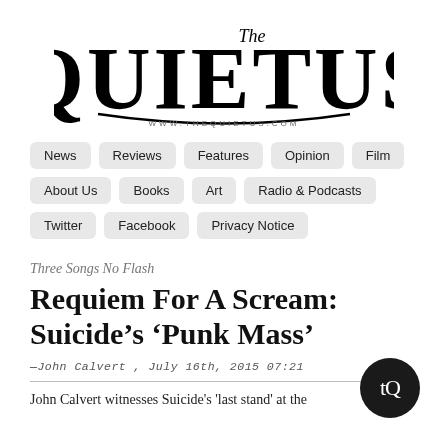[Figure (logo): The Quietus logo — 'The' in italic script above large serif 'QUIETUS' text, with www.thequietus.com below]
News | Reviews | Features | Opinion | Film | About Us | Books | Art | Radio & Podcasts | Twitter | Facebook | Privacy Notice
Three Songs No Flash
Requiem For A Scream: Suicide’s ‘Punk Mass’
— John Calvert , July 16th, 2015 07:21
John Calvert witnesses Suicide's 'last stand' at the